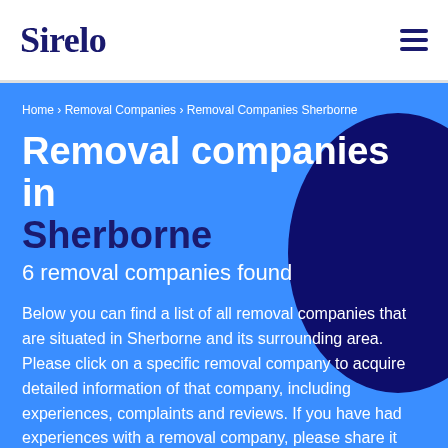Sirelo
Home › Removal Companies › Removal Companies Sherborne
Removal companies in Sherborne
6 removal companies found
Below you can find a list of all removal companies that are situated in Sherborne and its surrounding area. Please click on a specific removal company to acquire detailed information of that company, including experiences, complaints and reviews. If you have had experiences with a removal company, please share it with us by submitting a review. Doing so you help other